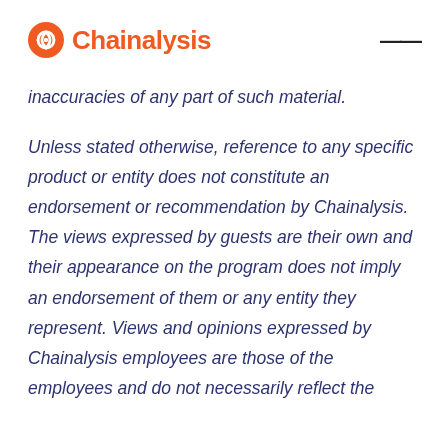Chainalysis
inaccuracies of any part of such material.
Unless stated otherwise, reference to any specific product or entity does not constitute an endorsement or recommendation by Chainalysis. The views expressed by guests are their own and their appearance on the program does not imply an endorsement of them or any entity they represent. Views and opinions expressed by Chainalysis employees are those of the employees and do not necessarily reflect the